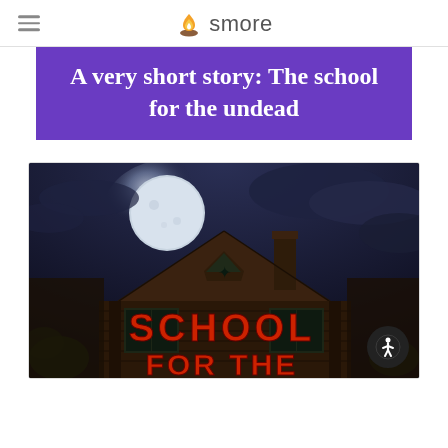smore
A very short story: The school for the undead
[Figure (photo): Spooky haunted school building at night with full moon, with red text reading 'SCHOOL FOR THE' overlaid. Dark atmospheric horror-style illustration.]